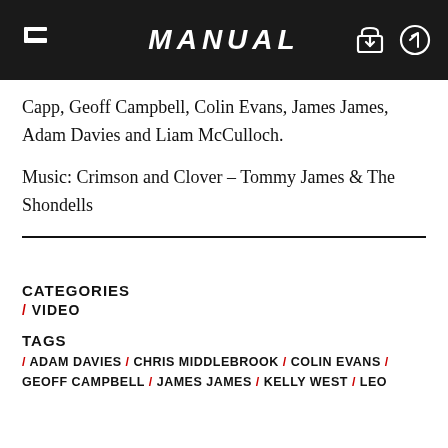MANUAL
Capp, Geoff Campbell, Colin Evans, James James, Adam Davies and Liam McCulloch.
Music: Crimson and Clover – Tommy James & The Shondells
CATEGORIES
/ VIDEO
TAGS
/ ADAM DAVIES / CHRIS MIDDLEBROOK / COLIN EVANS / GEOFF CAMPBELL / JAMES JAMES / KELLY WEST / LEO